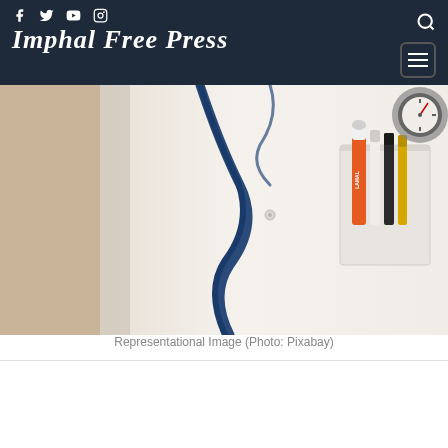Imphal Free Press
[Figure (photo): Close-up photo of a medical professional in a white coat with a stethoscope and pen/tools in breast pocket, with a blood pressure gauge visible in the background]
Representational Image (Photo: Pixabay)